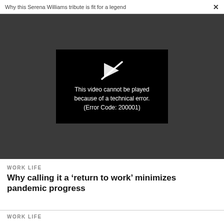Why this Serena Williams tribute is fit for a legend  ×
[Figure (screenshot): Video player showing error message on dark gray background. Black video frame with a broken play button icon and text: 'This video cannot be played because of a technical error. (Error Code: 200001)']
WORK LIFE
Why calling it a 'return to work' minimizes pandemic progress
WORK LIFE